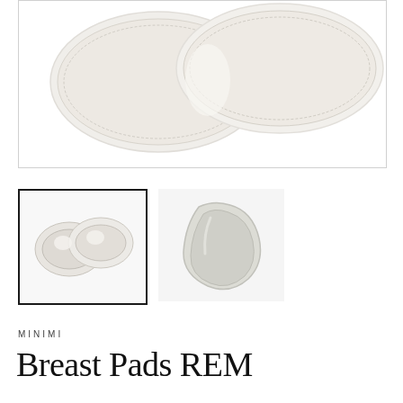[Figure (photo): Main product image of white fabric breast pads / nursing pads laid flat, showing two overlapping rounded pads with stitched edges on white background]
[Figure (photo): Thumbnail 1 (selected, with black border): two white silicone/gel breast pads shown from front angle]
[Figure (photo): Thumbnail 2: single translucent silicone breast pad shown from side angle]
MINIMI
Breast Pads REM